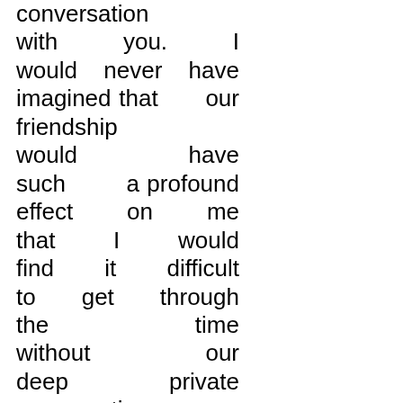conversation with you. I would never have imagined that our friendship would have such a profound effect on me that I would find it difficult to get through the time without our deep private conversations. It has become very strange to me, I must admit. The